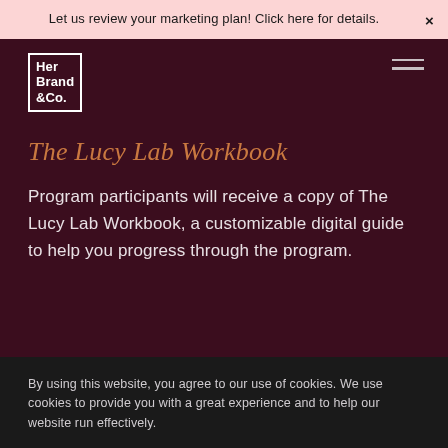Let us review your marketing plan! Click here for details.
[Figure (logo): Her Brand &Co. logo in white text with border]
The Lucy Lab Workbook
Program participants will receive a copy of The Lucy Lab Workbook, a customizable digital guide to help you progress through the program.
By using this website, you agree to our use of cookies. We use cookies to provide you with a great experience and to help our website run effectively.
Accept   Decline